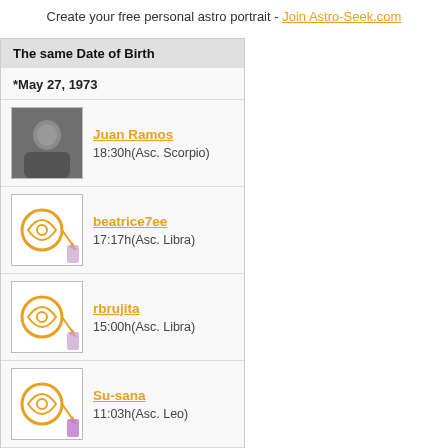Create your free personal astro portrait - Join Astro-Seek.com
The same Date of Birth
*May 27, 1973
Juan Ramos
18:30h(Asc. Scorpio)
beatrice7ee
17:17h(Asc. Libra)
rbrujita
15:00h(Asc. Libra)
Su-sana
11:03h(Asc. Leo)
titaki
09:45h(Asc. Leo)
Show all (14) »